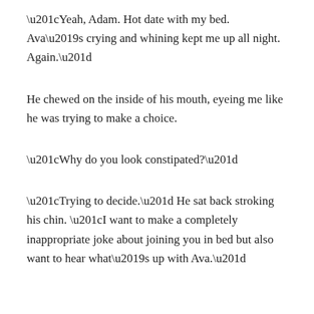“Yeah, Adam. Hot date with my bed. Ava’s crying and whining kept me up all night. Again.”
He chewed on the inside of his mouth, eyeing me like he was trying to make a choice.
“Why do you look constipated?”
“Trying to decide.” He sat back stroking his chin. “I want to make a completely inappropriate joke about joining you in bed but also want to hear what’s up with Ava.”